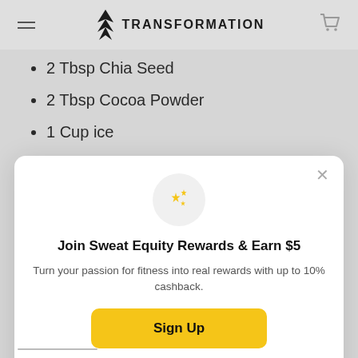TRANSFORMATION
2 Tbsp Chia Seed
2 Tbsp Cocoa Powder
1 Cup ice
Join Sweat Equity Rewards & Earn $5
Turn your passion for fitness into real rewards with up to 10% cashback.
Sign Up
Already have an account? Sign in